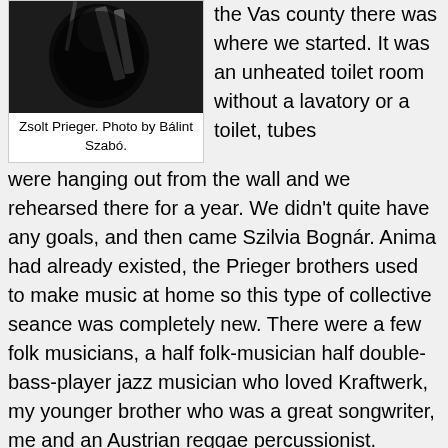[Figure (photo): Black and white photo of Zsolt Prieger, a person partially visible in low light with geometric shapes in background]
Zsolt Prieger. Photo by Bálint Szabó.
the Vas county there was where we started. It was an unheated toilet room without a lavatory or a toilet, tubes were hanging out from the wall and we rehearsed there for a year. We didn't quite have any goals, and then came Szilvia Bognár. Anima had already existed, the Prieger brothers used to make music at home so this type of collective seance was completely new. There were a few folk musicians, a half folk-musician half double-bass-player jazz musician who loved Kraftwerk, my younger brother who was a great songwriter, me and an Austrian reggae percussionist. Thanks to him our first concert was in Vienna, where there were shows like Kruder and Dorfmeister or Cypress Hill. It could have been a nice ending but after the regime change, some guys in Tilos Radio fell in love with this multicultural, folkish, melting-